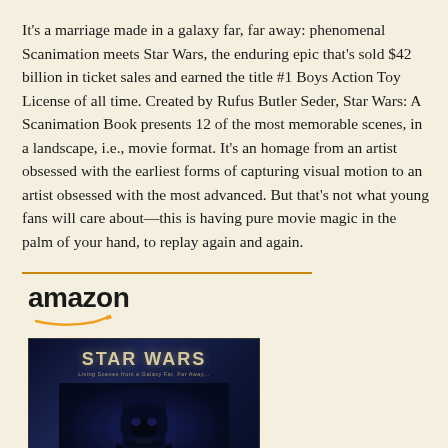It's a marriage made in a galaxy far, far away: phenomenal Scanimation meets Star Wars, the enduring epic that's sold $42 billion in ticket sales and earned the title #1 Boys Action Toy License of all time. Created by Rufus Butler Seder, Star Wars: A Scanimation Book presents 12 of the most memorable scenes, in a landscape, i.e., movie format. It's an homage from an artist obsessed with the earliest forms of capturing visual motion to an artist obsessed with the most advanced. But that's not what young fans will care about—this is having pure movie magic in the palm of your hand, to replay again and again.
[Figure (other): Amazon product listing widget showing the Amazon logo with orange arrow, a book cover for 'Star Wars: A Scanimation Book' with dark space-themed cover art featuring Darth Vader silhouette, product title link 'Star Wars: A Scanimation...' in blue, price '$14.95' and Prime badge with checkmark.]